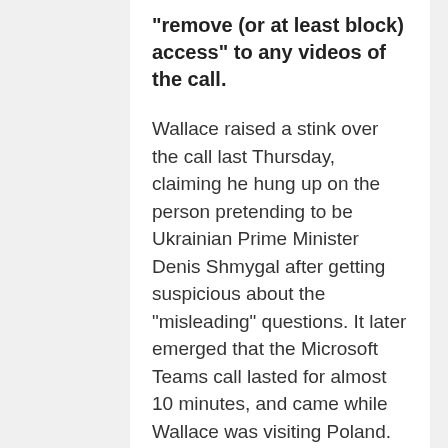“remove (or at least block) access” to any videos of the call.
Wallace raised a stink over the call last Thursday, claiming he hung up on the person pretending to be Ukrainian Prime Minister Denis Shmygal after getting suspicious about the “misleading” questions. It later emerged that the Microsoft Teams call lasted for almost 10 minutes, and came while Wallace was visiting Poland.
Blaming the government in Moscow, the minister denounced the call as an example of “Russian